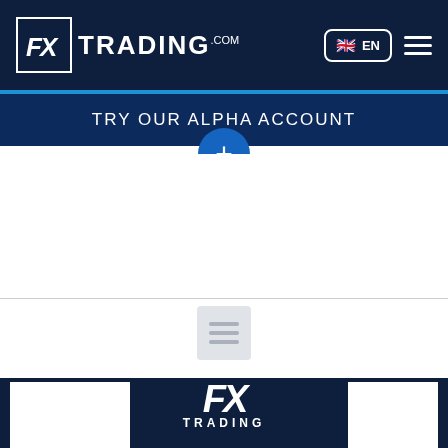[Figure (logo): FX TRADING.com logo in white on dark navy header bar with language selector (EN with UK flag) and hamburger menu]
TRY OUR ALPHA ACCOUNT
[Figure (other): Plus (+) button circle below the banner, and a document/article icon below a horizontal divider]
[Figure (logo): FX TRADING logo in white on dark navy footer background, flanked by two white panels]